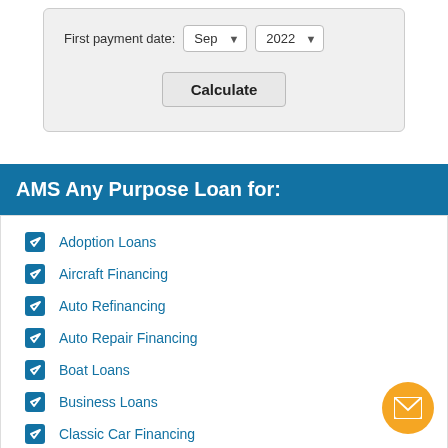[Figure (screenshot): Loan calculator form showing 'First payment date:' label with two dropdowns: 'Sep' and '2022', and a 'Calculate' button below, inside a rounded gray box.]
AMS Any Purpose Loan for:
Adoption Loans
Aircraft Financing
Auto Refinancing
Auto Repair Financing
Boat Loans
Business Loans
Classic Car Financing
Closing Cost Loans